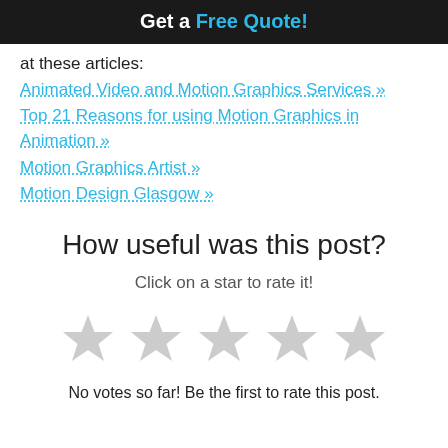Get a Free Quote!
at these articles:
Animated Video and Motion Graphics Services »
Top 21 Reasons for using Motion Graphics in Animation »
Motion Graphics Artist »
Motion Design Glasgow »
How useful was this post?
Click on a star to rate it!
[Figure (other): Five grey star icons for rating]
No votes so far! Be the first to rate this post.